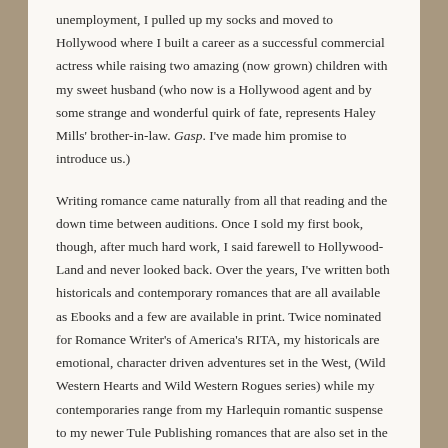unemployment, I pulled up my socks and moved to Hollywood where I built a career as a successful commercial actress while raising two amazing (now grown) children with my sweet husband (who now is a Hollywood agent and by some strange and wonderful quirk of fate, represents Haley Mills' brother-in-law. Gasp. I've made him promise to introduce us.)
Writing romance came naturally from all that reading and the down time between auditions. Once I sold my first book, though, after much hard work, I said farewell to Hollywood-Land and never looked back. Over the years, I've written both historicals and contemporary romances that are all available as Ebooks and a few are available in print. Twice nominated for Romance Writer's of America's RITA, my historicals are emotional, character driven adventures set in the West, (Wild Western Hearts and Wild Western Rogues series) while my contemporaries range from my Harlequin romantic suspense to my newer Tule Publishing romances that are also set in the west and are both emotional and full of fun. A little something